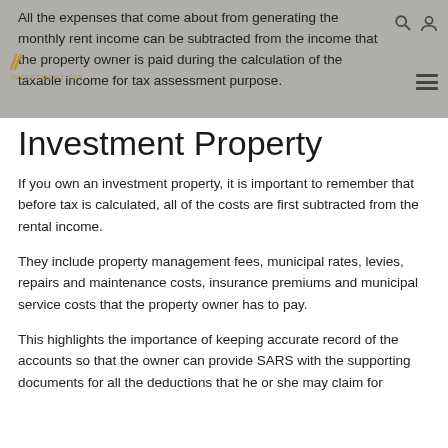All the expenses that come about from generating the monthly rent income can be subtracted from the income that the property owner is paid during the calculation of the taxable income for tax assessment purpose.
Investment Property
If you own an investment property, it is important to remember that before tax is calculated, all of the costs are first subtracted from the rental income.
They include property management fees, municipal rates, levies, repairs and maintenance costs, insurance premiums and municipal service costs that the property owner has to pay.
This highlights the importance of keeping accurate record of the accounts so that the owner can provide SARS with the supporting documents for all the deductions that he or she may claim for